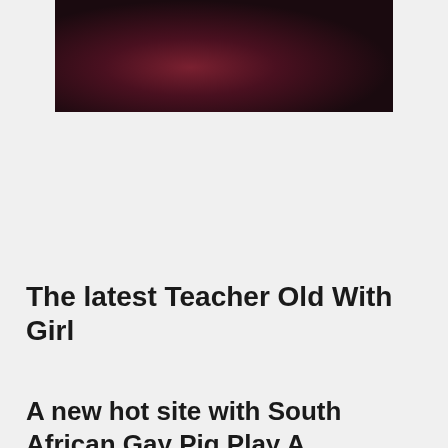[Figure (photo): Dark close-up photo with reddish/pinkish tones against a black background]
The latest Teacher Old With Girl
A new hot site with South African Gay Pig Play A...